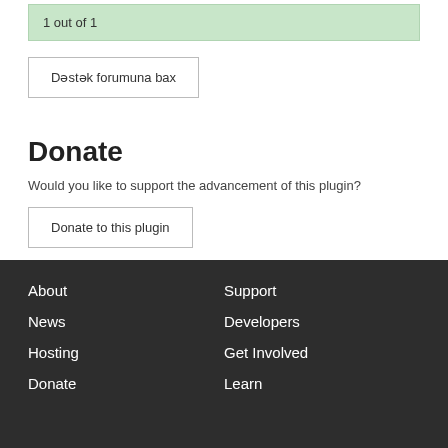1 out of 1
Dəstək forumuna bax
Donate
Would you like to support the advancement of this plugin?
Donate to this plugin
About  Support  News  Developers  Hosting  Get Involved  Donate  Learn